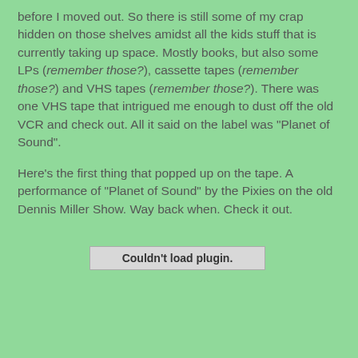before I moved out. So there is still some of my crap hidden on those shelves amidst all the kids stuff that is currently taking up space. Mostly books, but also some LPs (remember those?), cassette tapes (remember those?) and VHS tapes (remember those?). There was one VHS tape that intrigued me enough to dust off the old VCR and check out. All it said on the label was "Planet of Sound".
Here's the first thing that popped up on the tape. A performance of "Planet of Sound" by the Pixies on the old Dennis Miller Show. Way back when. Check it out.
[Figure (other): Embedded plugin/video placeholder displaying 'Couldn't load plugin.']